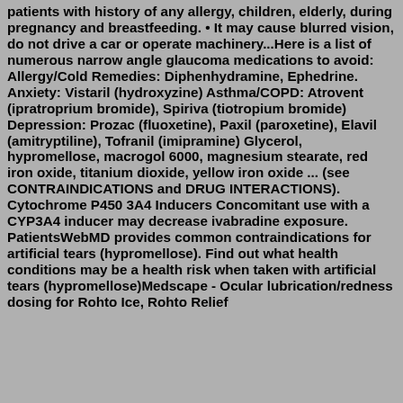patients with history of any allergy, children, elderly, during pregnancy and breastfeeding. • It may cause blurred vision, do not drive a car or operate machinery...Here is a list of numerous narrow angle glaucoma medications to avoid: Allergy/Cold Remedies: Diphenhydramine, Ephedrine. Anxiety: Vistaril (hydroxyzine) Asthma/COPD: Atrovent (ipratroprium bromide), Spiriva (tiotropium bromide) Depression: Prozac (fluoxetine), Paxil (paroxetine), Elavil (amitryptiline), Tofranil (imipramine) Glycerol, hypromellose, macrogol 6000, magnesium stearate, red iron oxide, titanium dioxide, yellow iron oxide ... (see CONTRAINDICATIONS and DRUG INTERACTIONS). Cytochrome P450 3A4 Inducers Concomitant use with a CYP3A4 inducer may decrease ivabradine exposure. PatientsWebMD provides common contraindications for artificial tears (hypromellose). Find out what health conditions may be a health risk when taken with artificial tears (hypromellose)Medscape - Ocular lubrication/redness dosing for Rohto Ice, Rohto Relief